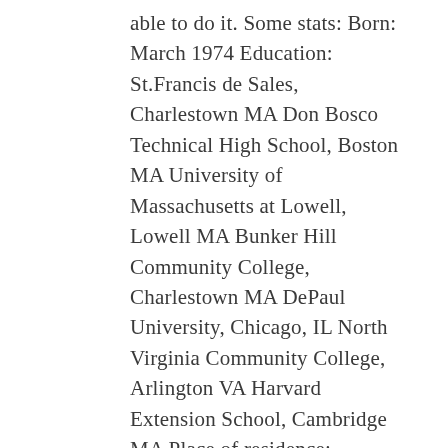able to do it. Some stats: Born: March 1974 Education: St.Francis de Sales, Charlestown MA Don Bosco Technical High School, Boston MA University of Massachusetts at Lowell, Lowell MA Bunker Hill Community College, Charlestown MA DePaul University, Chicago, IL North Virginia Community College, Arlington VA Harvard Extension School, Cambridge MA Place of residence: Somewhere in the land of metro Boston. It’s vaguely familiar and becoming home more and more by the day, but when you come from “The Town” all else fails by comparison.